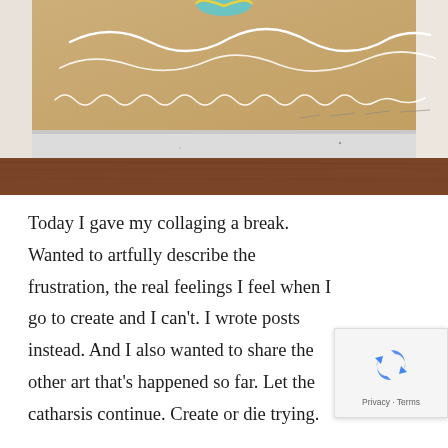[Figure (photo): Close-up photograph of a cardboard box or book with white decorative swirls/doodles painted on top, resting on a white painted ledge above a dark brown wooden surface. The image is cropped showing just the upper portion of the object.]
Today I gave my collaging a break. Wanted to artfully describe the frustration, the real feelings I feel when I go to create and I can't. I wrote posts instead. And I also wanted to share the other art that's happened so far. Let the catharsis continue. Create or die trying.